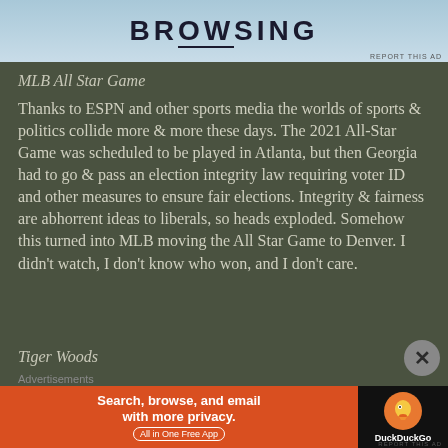[Figure (other): Advertisement banner with the word BROWSING on a light blue background]
MLB All Star Game
Thanks to ESPN and other sports media the worlds of sports & politics collide more & more these days. The 2021 All-Star Game was scheduled to be played in Atlanta, but then Georgia had to go & pass an election integrity law requiring voter ID and other measures to ensure fair elections. Integrity & fairness are abhorrent ideas to liberals, so heads exploded. Somehow this turned into MLB moving the All Star Game to Denver. I didn't watch, I don't know who won, and I don't care.
Tiger Woods
Advertisements
[Figure (other): DuckDuckGo advertisement: Search, browse, and email with more privacy. All in One Free App]